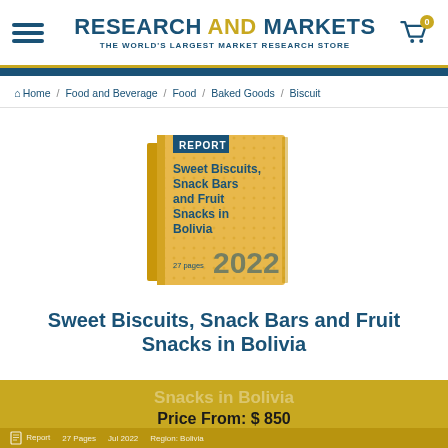RESEARCH AND MARKETS - THE WORLD'S LARGEST MARKET RESEARCH STORE
Home / Food and Beverage / Food / Baked Goods / Biscuit
[Figure (illustration): A 3D book cover illustration in gold/yellow color showing a market research report titled 'Sweet Biscuits, Snack Bars and Fruit Snacks in Bolivia', with '27 pages' and '2022' printed on the cover, and a blue 'REPORT' label tab on the top-left.]
Sweet Biscuits, Snack Bars and Fruit Snacks in Bolivia
Price From: $ 850